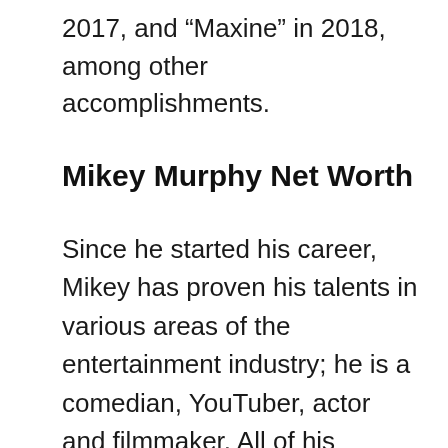2017, and “Maxine” in 2018, among other accomplishments.
Mikey Murphy Net Worth
Since he started his career, Mikey has proven his talents in various areas of the entertainment industry; he is a comedian, YouTuber, actor and filmmaker. All of his success has added a considerable amount to his wealth. So, do you know how rich Mikey Murphy is, as of mid- 2019? According to authoritative sources, it has been estimated that Murphy’s wealth is as high as $1 million, which will undoubtedly become higher